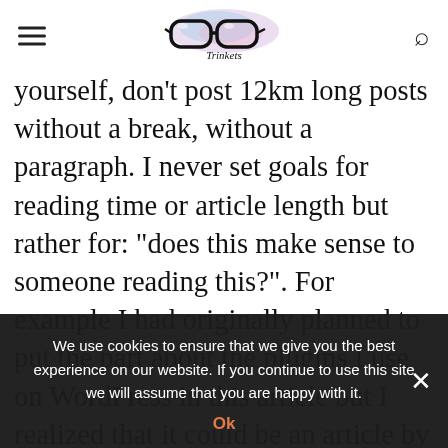Trinkets [logo with glasses]
yourself, don't post 12km long posts without a break, without a paragraph. I never set goals for reading time or article length but rather for: “does this make sense to someone reading this?”. For example I had originally planned to put the part about the plugins I use on WordPress in this article but I realized that it could be an article by itself (which
We use cookies to ensure that we give you the best experience on our website. If you continue to use this site we will assume that you are happy with it.
Ok